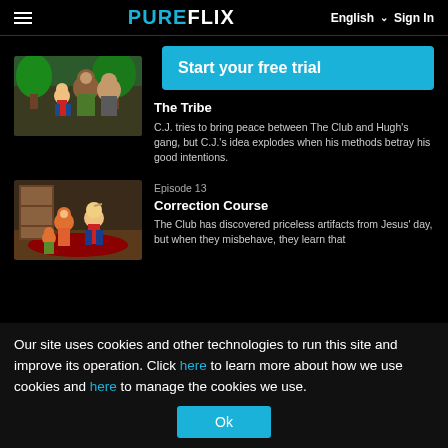PUREFLIX | English Sign In
[Figure (screenshot): Start your free trial button banner in cyan/blue]
[Figure (illustration): Animated cartoon characters thumbnail for The Tribe episode]
The Tribe
C.J. tries to bring peace between The Club and Hugh's gang, but C.J.'s idea explodes when his methods betray his good intentions.
[Figure (illustration): Animated cartoon characters thumbnail for Correction Course episode]
Episode 13
Correction Course
The Club has discovered priceless artifacts from Jesus' day, but when they misbehave, they learn that
Our site uses cookies and other technologies to run this site and improve its operation. Click here to learn more about how we use cookies and here to manage the cookies we use.
Ok